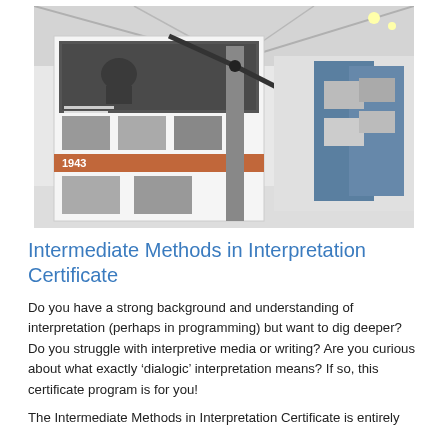[Figure (photo): Interior of a museum exhibition hall with tall white display panels, historical photographs mounted on panels, a terracotta-colored horizontal band with '1943' text, a propeller artifact on a central column, and blue display stands in the background.]
Intermediate Methods in Interpretation Certificate
Do you have a strong background and understanding of interpretation (perhaps in programming) but want to dig deeper? Do you struggle with interpretive media or writing? Are you curious about what exactly ‘dialogic’ interpretation means? If so, this certificate program is for you!
The Intermediate Methods in Interpretation Certificate is entirely